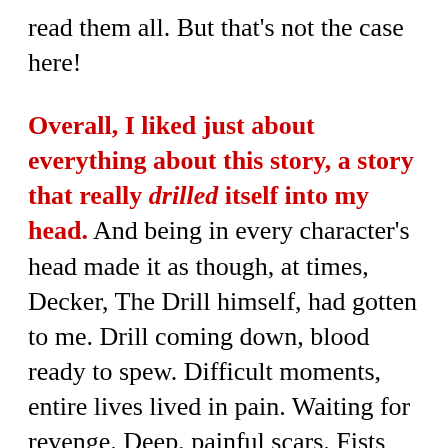read them all. But that's not the case here!
Overall, I liked just about everything about this story, a story that really drilled itself into my head. And being in every character's head made it as though, at times, Decker, The Drill himself, had gotten to me. Drill coming down, blood ready to spew. Difficult moments, entire lives lived in pain. Waiting for revenge. Deep, painful scars. Fists flying, bullets penetrating and pipes heading toward faces. And